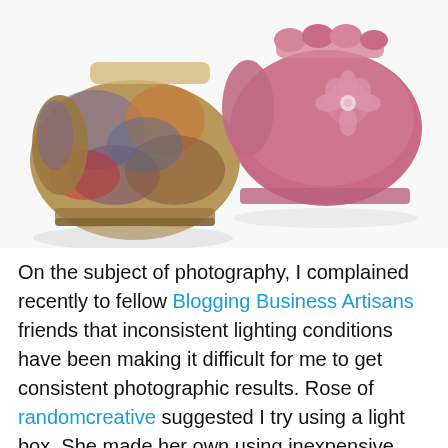[Figure (photo): Two pairs of fingerless crochet gloves/mittens on white background. Left pair is multi-colored (brown, blue, red, green variegated yarn). Right pair is solid pink with a decorative flower accent.]
On the subject of photography, I complained recently to fellow Blogging Business Artisans friends that inconsistent lighting conditions have been making it difficult for me to get consistent photographic results. Rose of randomcreative suggested I try using a light box. She made her own using inexpensive materials, and has been very satisfied with the outcome for her jewelry designs. You may wish to visit her post in which she describes the tutorial and